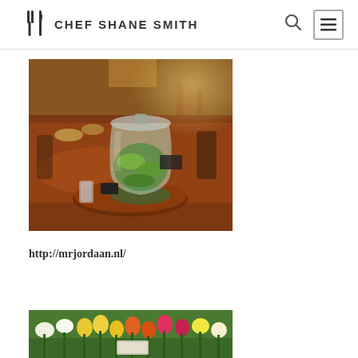CHEF SHANE SMITH
[Figure (photo): A glass beverage dispenser filled with water and lime slices, sitting on a wooden tray on a long wooden dining table in a warm restaurant interior.]
http://mrjordaan.nl/
[Figure (photo): A colorful display of fresh tulips and daffodils at what appears to be a flower market or garden stand.]